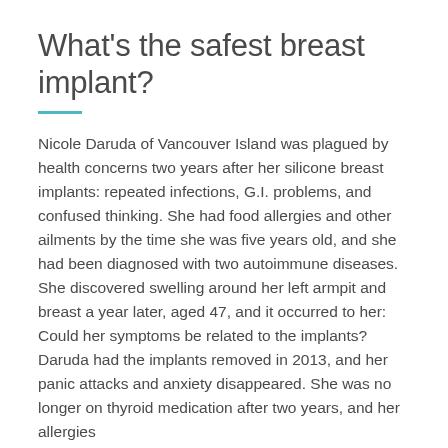What's the safest breast implant?
Nicole Daruda of Vancouver Island was plagued by health concerns two years after her silicone breast implants: repeated infections, G.I. problems, and confused thinking. She had food allergies and other ailments by the time she was five years old, and she had been diagnosed with two autoimmune diseases. She discovered swelling around her left armpit and breast a year later, aged 47, and it occurred to her: Could her symptoms be related to the implants? Daruda had the implants removed in 2013, and her panic attacks and anxiety disappeared. She was no longer on thyroid medication after two years, and her allergies